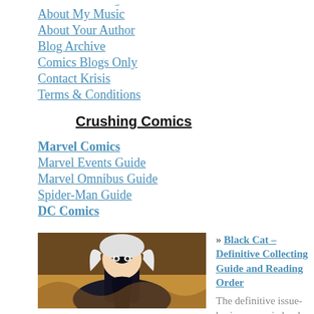About My Music
About Your Author
Blog Archive
Comics Blogs Only
Contact Krisis
Terms & Conditions
Crushing Comics
Marvel Comics
Marvel Events Guide
Marvel Omnibus Guide
Spider-Man Guide
DC Comics
[Figure (illustration): Black Cat comic book character illustration — woman with white hair in black costume]
» Black Cat – Definitive Collecting Guide and Reading Order
The definitive issue-by-issue comic book collecting [...]